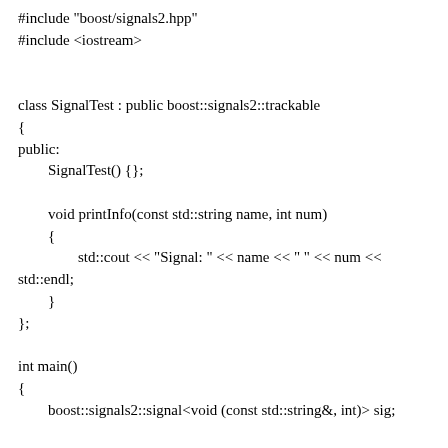#include "boost/signals2.hpp"
#include <iostream>


class SignalTest : public boost::signals2::trackable
{
public:
        SignalTest() {};

        void printInfo(const std::string name, int num)
        {
                std::cout << "Signal: " << name << " " << num <<
std::endl;
        }
};

int main()
{
        boost::signals2::signal<void (const std::string&, int)> sig;

        SignalTest test1;
        sig.connect(boost::bind(&SignalTest::printInfo, test1, _1,
_2));
        sig("Test", 1);